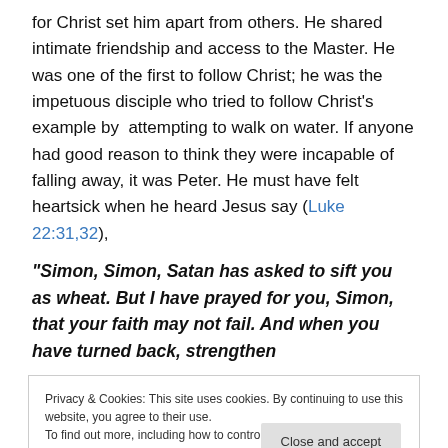for Christ set him apart from others. He shared intimate friendship and access to the Master. He was one of the first to follow Christ; he was the impetuous disciple who tried to follow Christ's example by  attempting to walk on water. If anyone had good reason to think they were incapable of falling away, it was Peter. He must have felt heartsick when he heard Jesus say (Luke 22:31,32),
“Simon, Simon, Satan has asked to sift you as wheat. But I have prayed for you, Simon, that your faith may not fail. And when you have turned back, strengthen
Privacy & Cookies: This site uses cookies. By continuing to use this website, you agree to their use.
To find out more, including how to control cookies, see here: Cookie Policy
Close and accept